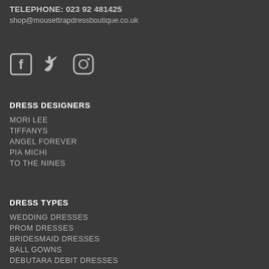TELEPHONE: 023 92 481425
shop@mousettrapdressboutique.co.uk
[Figure (illustration): Social media icons: Facebook, Twitter, Instagram]
DRESS DESIGNERS
MORI LEE
TIFFANYS
ANGEL FOREVER
PIA MICHI
TO THE NINES
DRESS TYPES
WEDDING DRESSES
PROM DRESSES
BRIDESMAID DRESSES
BALL GOWNS
DEBUTARA DEBIT DRESSES